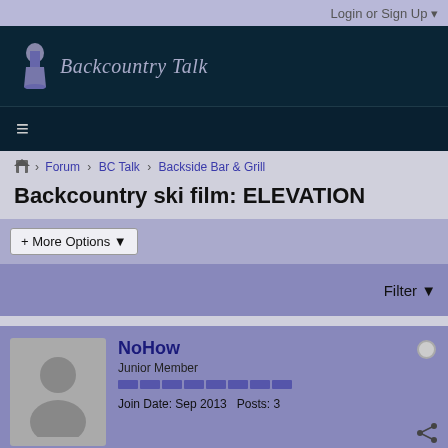Login or Sign Up ▼
[Figure (logo): Backcountry Talk logo with flask icon and italic text]
≡
⌂ > Forum > BC Talk > Backside Bar & Grill
Backcountry ski film: ELEVATION
+ More Options ▾
Filter ▾
NoHow
Junior Member
Join Date: Sep 2013  Posts: 3